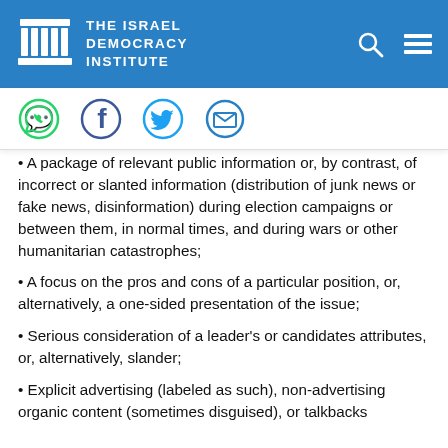THE ISRAEL DEMOCRACY INSTITUTE
[Figure (logo): The Israel Democracy Institute logo with pillars icon and organization name]
[Figure (infographic): Social share icons: WhatsApp (green), Facebook (dark blue), Twitter (blue), Email (blue outline)]
A package of relevant public information or, by contrast, of incorrect or slanted information (distribution of junk news or fake news, disinformation) during election campaigns or between them, in normal times, and during wars or other humanitarian catastrophes;
A focus on the pros and cons of a particular position, or, alternatively, a one-sided presentation of the issue;
Serious consideration of a leader's or candidates attributes, or, alternatively, slander;
Explicit advertising (labeled as such), non-advertising organic content (sometimes disguised), or talkbacks